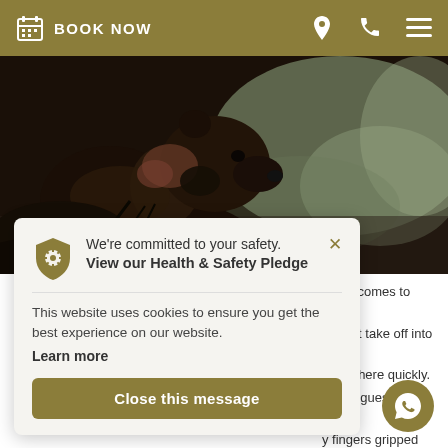BOOK NOW
[Figure (photo): Close-up photo of a bear (wolverine or similar animal) in profile against a blurred green background]
hen it comes to these
might take off into the
o get there quickly.
ecting guests, my right
fingers gripped the
sion. The minutes
- I have a terrible ker
gs ahead that
We're committed to your safety. View our Health & Safety Pledge
This website uses cookies to ensure you get the best experience on our website. Learn more
Close this message